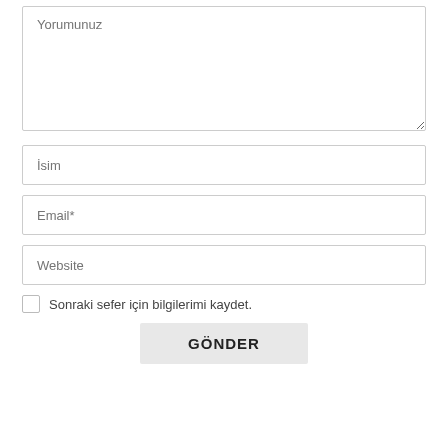[Figure (screenshot): A web comment form with a textarea labeled 'Yorumunuz', text inputs for 'İsim', 'Email*', 'Website', a checkbox labeled 'Sonraki sefer için bilgilerimi kaydet.', and a submit button labeled 'GÖNDER'.]
Yorumunuz
İsim
Email*
Website
Sonraki sefer için bilgilerimi kaydet.
GÖNDER